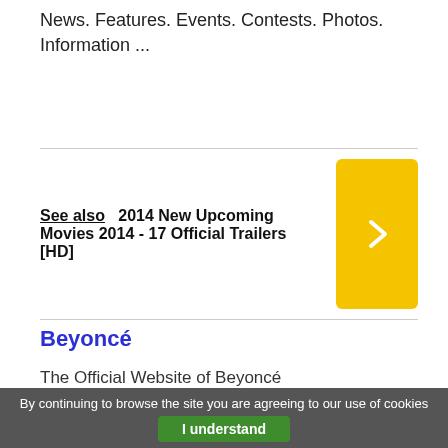News. Features. Events. Contests. Photos. Information ...
See also  2014 New Upcoming Movies 2014 - 17 Official Trailers [HD]
Beyoncé
The Official Website of Beyoncé
[Figure (photo): Photo of Beyoncé with a child, crowd in background]
Beyoncé Refuses To Cooperate In "Blue Ivy Carter" Trademark Case - HipHopDX
By continuing to browse the site you are agreeing to our use of cookies  I understand